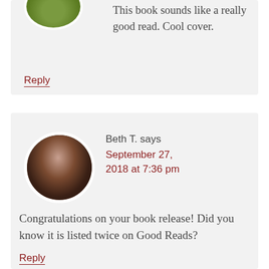This book sounds like a really good read. Cool cover.
Reply
Beth T. says
September 27, 2018 at 7:36 pm
Congratulations on your book release! Did you know it is listed twice on Good Reads?
Reply